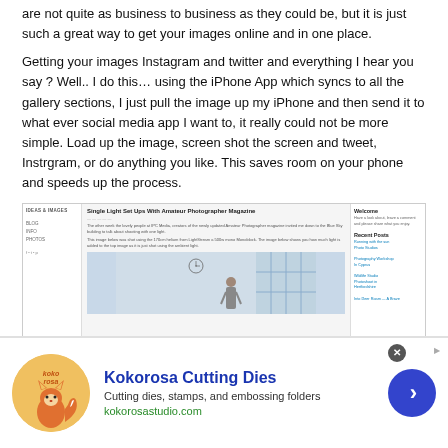are not quite as business to business as they could be, but it is just such a great way to get your images online and in one place.
Getting your images Instagram and twitter and everything I hear you say ? Well.. I do this… using the iPhone App which syncs to all the gallery sections, I just pull the image up my iPhone and then send it to what ever social media app I want to, it really could not be more simple. Load up the image, screen shot the screen and tweet, Instrgram, or do anything you like. This saves room on your phone and speeds up the process.
[Figure (screenshot): Screenshot of a photography blog website showing a post titled 'Single Light Set Ups With Amateur Photographer Magazine' with a photo of a woman in a room with large windows and a clock on the wall. The website has a sidebar with navigation, a main content area, and a right sidebar with Recent Posts.]
[Figure (other): Advertisement banner for Kokorosa Cutting Dies featuring a circular logo with a fox illustration, the brand name in blue, tagline 'Cutting dies, stamps, and embossing folders', URL kokorosastudio.com, and a blue circular arrow button. There is also a close (X) button.]